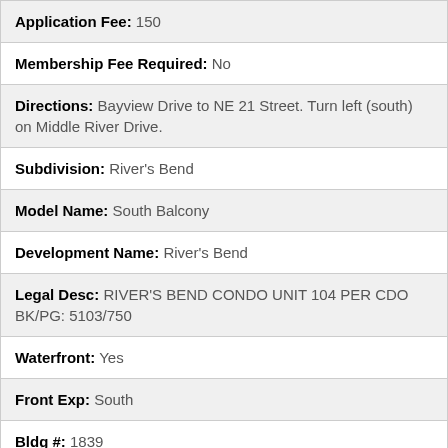| Application Fee: 150 |
| Membership Fee Required: No |
| Directions: Bayview Drive to NE 21 Street. Turn left (south) on Middle River Drive. |
| Subdivision: River's Bend |
| Model Name: South Balcony |
| Development Name: River's Bend |
| Legal Desc: RIVER'S BEND CONDO UNIT 104 PER CDO BK/PG: 5103/750 |
| Waterfront: Yes |
| Front Exp: South |
| Bldg #: 1839 |
| Unit Floor #: 1 |
| Pets Allowed: Yes |
| Total Floors/Stories: 5 |